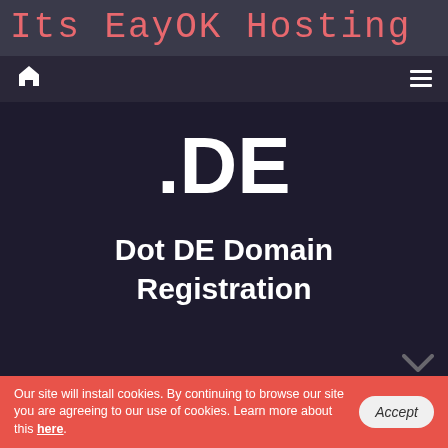Its EayOK Hosting
.DE
Dot DE Domain Registration
Our site will install cookies. By continuing to browse our site you are agreeing to our use of cookies. Learn more about this here.